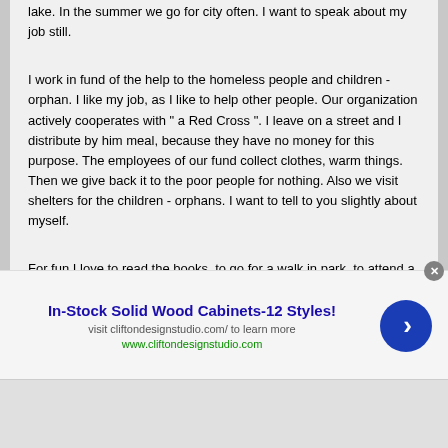lake. In the summer we go for city often. I want to speak about my job still.
I work in fund of the help to the homeless people and children - orphan. I like my job, as I like to help other people. Our organization actively cooperates with " a Red Cross ". I leave on a street and I distribute by him meal, because they have no money for this purpose. The employees of our fund collect clothes, warm things. Then we give back it to the poor people for nothing. Also we visit shelters for the children - orphans. I want to tell to you slightly about myself.
For fun I love to read the books, to go for a walk in park, to attend a sports hall, also I like to go with the friends in theatre and to listen to quiet music. I want to get acquainted with the serious man, which is ready to begin the serious relations. I want the favourite man, which will be to me the friend also. I want trust and respect in the relation
[Figure (screenshot): Advertisement banner for In-Stock Solid Wood Cabinets-12 Styles! with visit cliftondesignstudio.com/ to learn more and www.cliftondesignstudio.com, featuring a blue arrow button and close button]